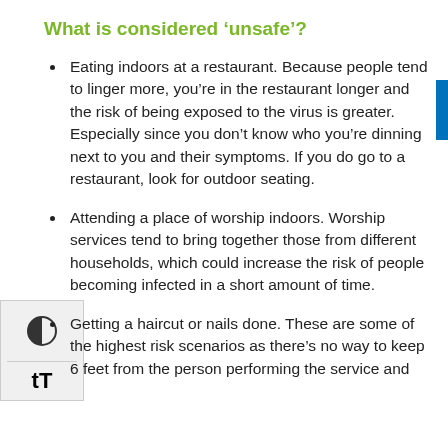What is considered ‘unsafe’?
Eating indoors at a restaurant. Because people tend to linger more, you’re in the restaurant longer and the risk of being exposed to the virus is greater. Especially since you don’t know who you’re dinning next to you and their symptoms. If you do go to a restaurant, look for outdoor seating.
Attending a place of worship indoors. Worship services tend to bring together those from different households, which could increase the risk of people becoming infected in a short amount of time.
Getting a haircut or nails done. These are some of the highest risk scenarios as there’s no way to keep 6 feet from the person performing the service and breathing on each other is inevitable for an extended